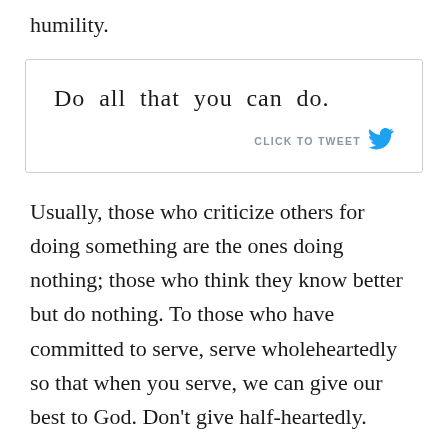humility.
[Figure (other): Tweet quote box with text 'Do all that you can do.' and a 'CLICK TO TWEET' call-to-action with Twitter bird icon]
Usually, those who criticize others for doing something are the ones doing nothing; those who think they know better but do nothing. To those who have committed to serve, serve wholeheartedly so that when you serve, we can give our best to God. Don't give half-heartedly.